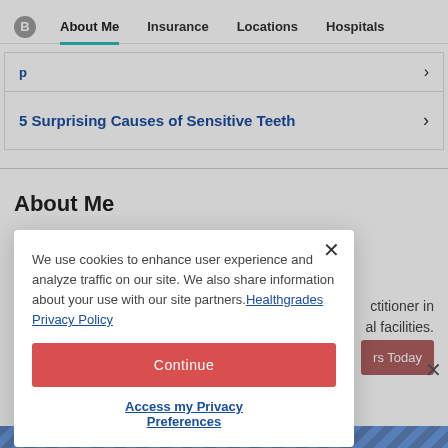About Me | Insurance | Locations | Hospitals
5 Surprising Causes of Sensitive Teeth
About Me
We use cookies to enhance user experience and analyze traffic on our site. We also share information about your use with our site partners. Healthgrades Privacy Policy
Continue
Access my Privacy Preferences